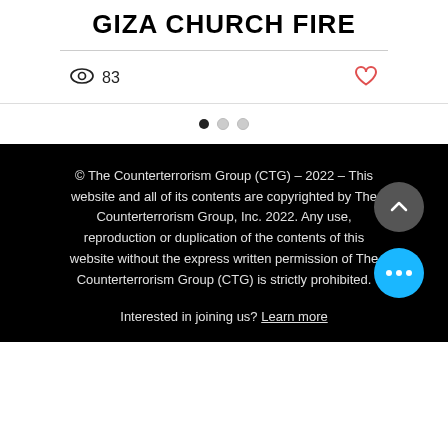GIZA CHURCH FIRE
83
© The Counterterrorism Group (CTG) – 2022 – This website and all of its contents are copyrighted by The Counterterrorism Group, Inc. 2022. Any use, reproduction or duplication of the contents of this website without the express written permission of The Counterterrorism Group (CTG) is strictly prohibited.
Interested in joining us? Learn more